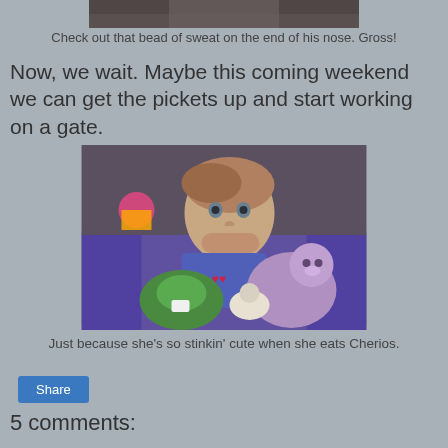[Figure (photo): Partial photo visible at top of page - cropped image showing top of a person's head]
Check out that bead of sweat on the end of his nose. Gross!
Now, we wait. Maybe this coming weekend we can get the pickets up and start working on a gate.
[Figure (photo): Young toddler girl sitting on a purple couch with stuffed animals (green turtle and purple elephant/pig), hand over mouth, wearing a blue shirt. Toys visible in background.]
Just because she's so stinkin' cute when she eats Cherios.
Share
5 comments: